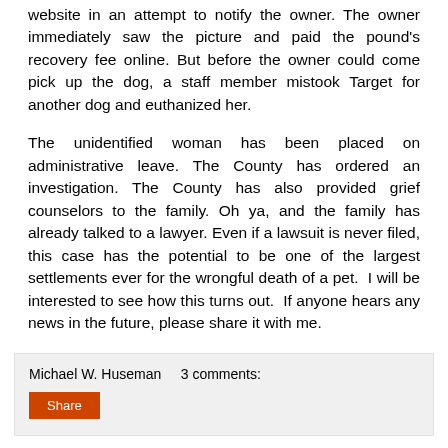website in an attempt to notify the owner. The owner immediately saw the picture and paid the pound's recovery fee online. But before the owner could come pick up the dog, a staff member mistook Target for another dog and euthanized her.
The unidentified woman has been placed on administrative leave. The County has ordered an investigation. The County has also provided grief counselors to the family. Oh ya, and the family has already talked to a lawyer. Even if a lawsuit is never filed, this case has the potential to be one of the largest settlements ever for the wrongful death of a pet.  I will be interested to see how this turns out.  If anyone hears any news in the future, please share it with me.
Michael W. Huseman    3 comments:
Share
Why Do Airline Passengers have Less